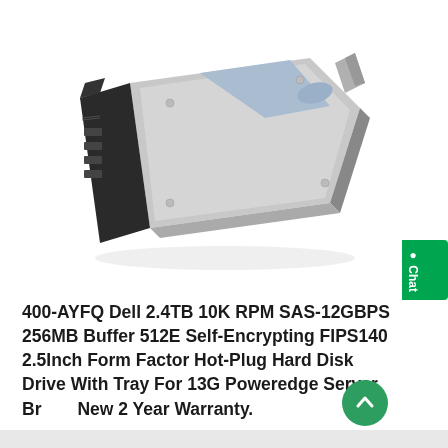[Figure (photo): Dell 2.4TB SAS hard disk drive with hot-plug tray, shown at an angle. The drive is silver/grey with a black front panel carrier tray.]
400-AYFQ Dell 2.4TB 10K RPM SAS-12GBPS 256MB Buffer 512E Self-Encrypting FIPS140 2.5Inch Form Factor Hot-Plug Hard Disk Drive With Tray For 13G Poweredge Server. Brand New 2 Year Warranty.